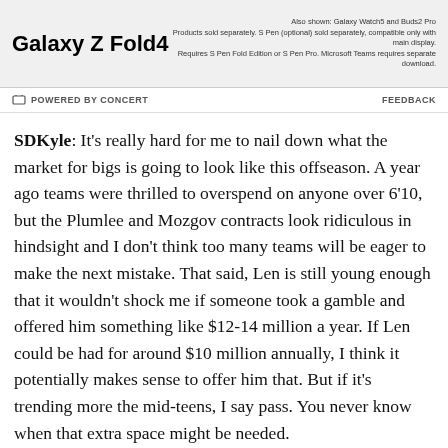[Figure (other): Samsung Galaxy Z Fold4 advertisement banner showing product name and small print about Galaxy Watch5 and Buds2 Pro accessories]
POWERED BY CONCERT   FEEDBACK
SDKyle: It's really hard for me to nail down what the market for bigs is going to look like this offseason. A year ago teams were thrilled to overspend on anyone over 6'10, but the Plumlee and Mozgov contracts look ridiculous in hindsight and I don't think too many teams will be eager to make the next mistake. That said, Len is still young enough that it wouldn't shock me if someone took a gamble and offered him something like $12-14 million a year. If Len could be had for around $10 million annually, I think it potentially makes sense to offer him that. But if it's trending more the mid-teens, I say pass. You never know when that extra space might be needed.